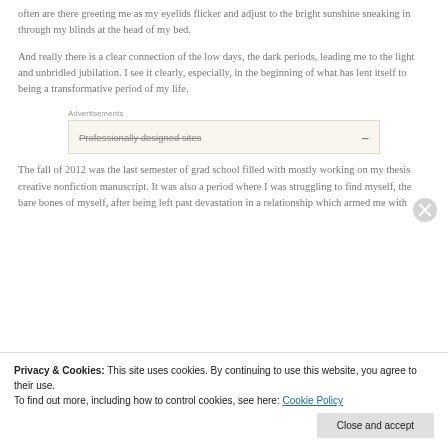often are there greeting me as my eyelids flicker and adjust to the bright sunshine sneaking in through my blinds at the head of my bed.
And really there is a clear connection of the low days, the dark periods, leading me to the light and unbridled jubilation. I see it clearly, especially, in the beginning of what has lent itself to being a transformative period of my life.
Advertisements
[Figure (screenshot): Advertisement box with text 'Professionally designed sites' with a strikethrough and a dash symbol on the right]
The fall of 2012 was the last semester of grad school filled with mostly working on my thesis creative nonfiction manuscript. It was also a period where I was struggling to find myself, the bare bones of myself, after being left past devastation in a relationship which armed me with
Privacy & Cookies: This site uses cookies. By continuing to use this website, you agree to their use.
To find out more, including how to control cookies, see here: Cookie Policy
Close and accept